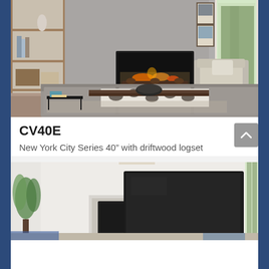[Figure (photo): Living room scene with a modern wall-mounted gas fireplace (rectangle insert in concrete-look wall), built-in white bookshelves on the left with decorative vase and books, large gray sectional sofa with patterned throw, dark wooden coffee table with decorative bowl, armchair in background, framed artwork on wall, and view of pine trees through large window on right.]
CV40E
New York City Series 40” with driftwood logset
[Figure (photo): Modern living room scene showing a large flat-screen TV mounted on a white wall above a rectangular fireplace insert. Green plant visible on left, bright window on right, and minimal modern furniture with blue accents visible at bottom.]